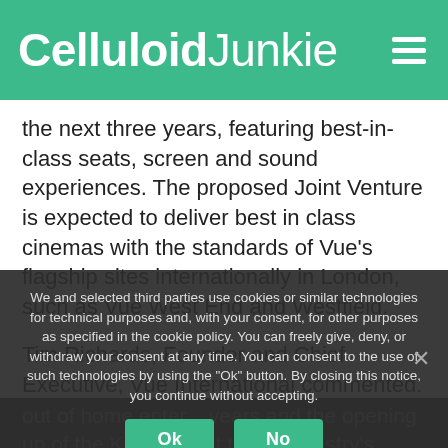Celluloid Junkie
the next three years, featuring best-in-class seats, screen and sound experiences. The proposed Joint Venture is expected to deliver best in class cinemas with the standards of Vue's flagship sites internationally in London, such as Vue West End and Westfield.
Tim Richards, Founder and Chief Executive, Vue International commented:
We and selected third parties use cookies or similar technologies for technical purposes and, with your consent, for other purposes as specified in the cookie policy. You can freely give, deny, or withdraw your consent at any time. You can consent to the use of such technologies by using the "Ok" button. By closing this notice, you continue without accepting.
out of home enter... years and the opening up of the King... ment to the industry's well...